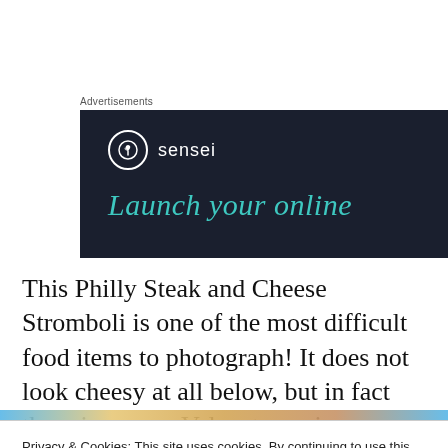Advertisements
[Figure (logo): Sensei brand advertisement banner with dark navy background. Shows Sensei logo (tree icon in circle) and text 'Launch your online' in teal italic font.]
This Philly Steak and Cheese Stromboli is one of the most difficult food items to photograph! It does not look cheesy at all below, but in fact there is orange Velveeta oozing
Privacy & Cookies: This site uses cookies. By continuing to use this website, you agree to their use.
To find out more, including how to control cookies, see here: Cookie Policy
Close and accept
[Figure (photo): Partial bottom strip showing a photo of food (Philly Steak and Cheese Stromboli) with blue background edges.]